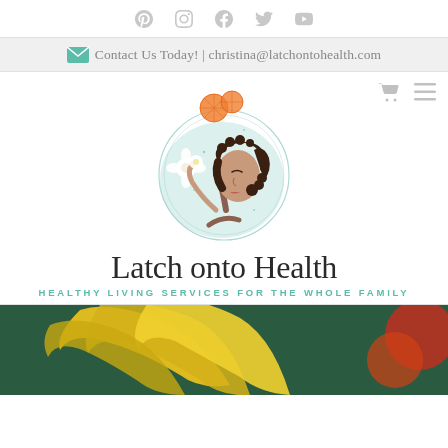Social media icons: Pinterest, Instagram, Facebook, Twitter, YouTube
Contact Us Today! | christina@latchontohealth.com
[Figure (logo): Latch onto Health logo: circular illustration of a woman with curly hair holding a flower, with orange slices on top, teal watercolor background circle]
Latch onto Health
HEALTHY LIVING SERVICES FOR THE WHOLE FAMILY
[Figure (photo): Close-up photo of yellow bananas on a dark teal/green surface, with red/orange fruit visible at edge]